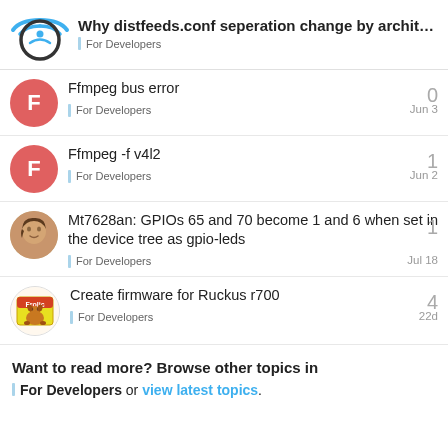Why distfeeds.conf seperation change by archit... — For Developers
Ffmpeg bus error | For Developers | 0 | Jun 3
Ffmpeg -f v4l2 | For Developers | 1 | Jun 2
Mt7628an: GPIOs 65 and 70 become 1 and 6 when set in the device tree as gpio-leds | For Developers | 1 | Jul 18
Create firmware for Ruckus r700 | For Developers | 4 | 22d
Want to read more? Browse other topics in For Developers or view latest topics.